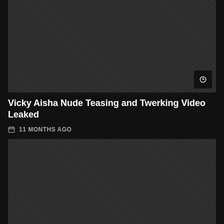[Figure (photo): Dark thumbnail image placeholder, top card]
Vicky Aisha Nude Teasing and Twerking Video Leaked
11 MONTHS AGO
[Figure (photo): Dark thumbnail image placeholder, bottom card]